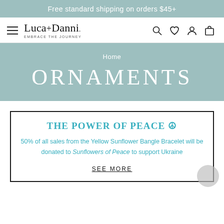Free standard shipping on orders $45+
[Figure (logo): Luca + Danni logo with tagline EMBRACE THE JOURNEY and navigation icons (hamburger menu, search, heart, person, bag)]
Home
ORNAMENTS
THE POWER OF PEACE 🕊
50% of all sales from the Yellow Sunflower Bangle Bracelet will be donated to Sunflowers of Peace to support Ukraine
SEE MORE